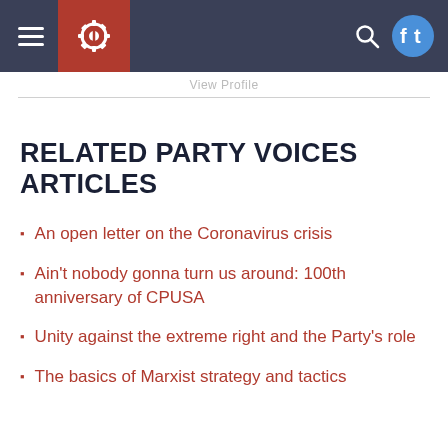Navigation bar with hamburger menu, CPUSA logo, search icon, and social media icons
View Profile
RELATED PARTY VOICES ARTICLES
An open letter on the Coronavirus crisis
Ain't nobody gonna turn us around: 100th anniversary of CPUSA
Unity against the extreme right and the Party's role
The basics of Marxist strategy and tactics